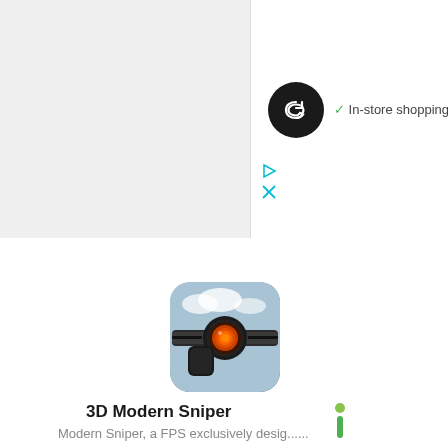[Figure (screenshot): Top gray banner area of a webpage/app]
[Figure (logo): Black circular loop/infinity logo]
✓ In-store shopping
[Figure (screenshot): Ad controls: play and close (X) icons in cyan]
[Figure (screenshot): Expand/collapse chevron-up button]
[Figure (illustration): 3D Modern Sniper game icon showing a sniper rifle close-up]
3D Modern Sniper
Modern Sniper, a FPS exclusively desig......
[Figure (screenshot): Green Install button]
[Figure (screenshot): Orange circular coffee cup button (Buy Me a Coffee widget)]
AD